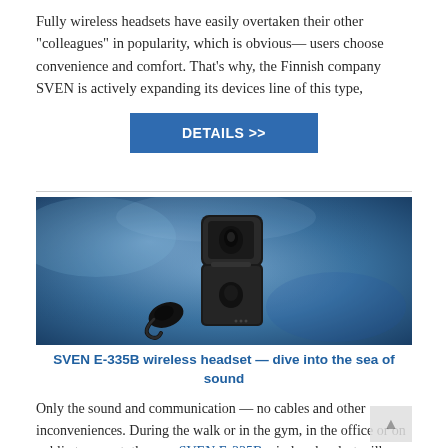Fully wireless headsets have easily overtaken their other "colleagues" in popularity, which is obvious— users choose convenience and comfort. That's why, the Finnish company SVEN is actively expanding its devices line of this type,
DETAILS >>
[Figure (photo): Product photo of SVEN E-335B wireless earbuds in an open black charging case, displayed against a blue textured background.]
SVEN E-335B wireless headset — dive into the sea of sound
Only the sound and communication — no cables and other inconveniences. During the walk or in the gym, in the office or on public transport, the new SVEN E-335B wireless headset will become your reliable companion, always ready